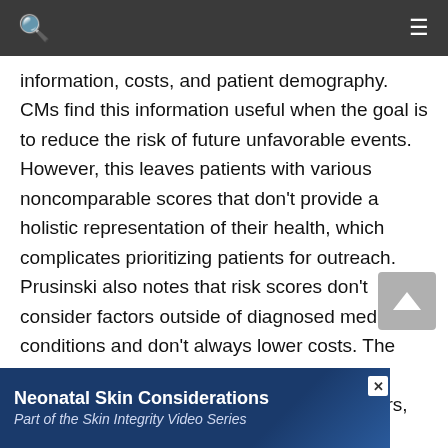Search | Menu
information, costs, and patient demography. CMs find this information useful when the goal is to reduce the risk of future unfavorable events. However, this leaves patients with various noncomparable scores that don't provide a holistic representation of their health, which complicates prioritizing patients for outreach. Prusinski also notes that risk scores don't consider factors outside of diagnosed medical conditions and don't always lower costs. The focus on cost detracts from, and frequently completely eclipses, behavioral health factors, patient adherence, and other environmental influences.
One ACO developed an outreach score using an altern... s stratifi... er
[Figure (other): Advertisement banner: Neonatal Skin Considerations - Part of the Skin Integrity Video Series]